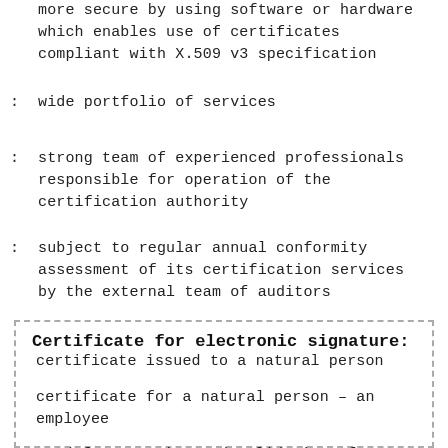more secure by using software or hardware which enables use of certificates compliant with X.509 v3 specification
wide portfolio of services
strong team of experienced professionals responsible for operation of the certification authority
subject to regular annual conformity assessment of its certification services by the external team of auditors
Certificate for electronic signature:
certificate issued to a natural person
certificate for a natural person – an employee
used for creation and validation of electronic